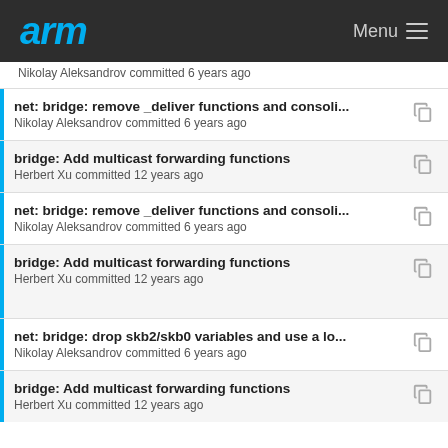arm  Menu
Nikolay Aleksandrov committed 6 years ago
net: bridge: remove _deliver functions and consoli...  Nikolay Aleksandrov committed 6 years ago
bridge: Add multicast forwarding functions  Herbert Xu committed 12 years ago
net: bridge: remove _deliver functions and consoli...  Nikolay Aleksandrov committed 6 years ago
bridge: Add multicast forwarding functions  Herbert Xu committed 12 years ago
net: bridge: drop skb2/skb0 variables and use a lo...  Nikolay Aleksandrov committed 6 years ago
bridge: Add multicast forwarding functions  Herbert Xu committed 12 years ago